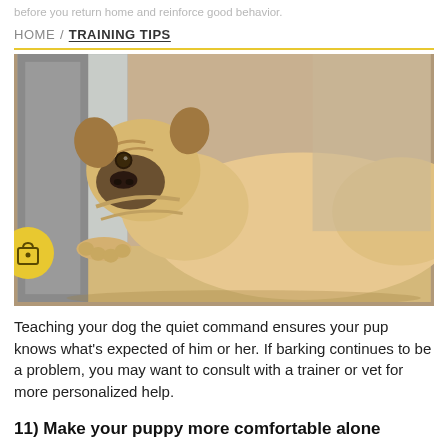before you return home and reinforce good behavior.
HOME / TRAINING TIPS
[Figure (photo): A fawn-colored pug lying flat on a cushion or ledge, pressing its face and paw against a glass sliding door or window, looking outside with a sad/waiting expression.]
Teaching your dog the quiet command ensures your pup knows what’s expected of him or her. If barking continues to be a problem, you may want to consult with a trainer or vet for more personalized help.
11) Make your puppy more comfortable alone